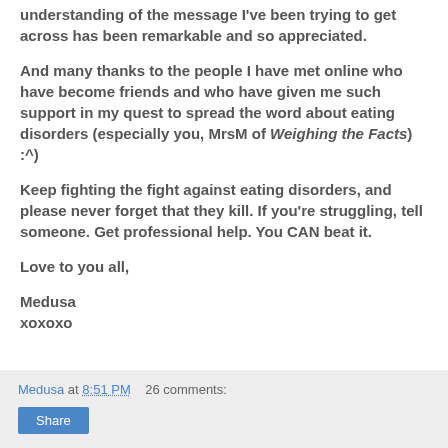understanding of the message I've been trying to get across has been remarkable and so appreciated.
And many thanks to the people I have met online who have become friends and who have given me such support in my quest to spread the word about eating disorders (especially you, MrsM of Weighing the Facts) :^)
Keep fighting the fight against eating disorders, and please never forget that they kill. If you're struggling, tell someone. Get professional help. You CAN beat it.
Love to you all,
Medusa
xoxoxo
Medusa at 8:51 PM    26 comments:   Share